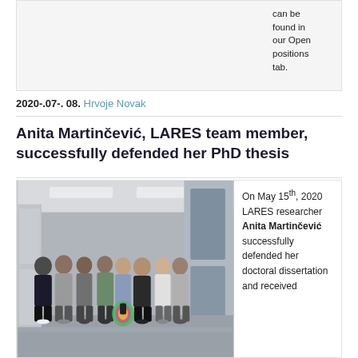can be found in our Open positions tab.
2020-.07-. 08. Hrvoje Novak
Anita Martinčević, LARES team member, successfully defended her PhD thesis
[Figure (photo): Group photo of LARES team members standing in a laboratory hallway, one person holding a colorful decorative item.]
On May 15th, 2020 LARES researcher Anita Martinčević successfully defended her doctoral dissertation and received